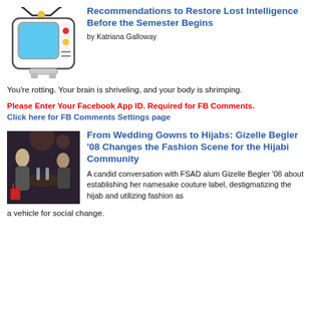[Figure (illustration): Cartoon TV icon with blue screen, antenna, red and yellow buttons]
Recommendations to Restore Lost Intelligence Before the Semester Begins
by Katriana Galloway
You're rotting. Your brain is shriveling, and your body is shrimping.
Please Enter Your Facebook App ID. Required for FB Comments.
Click here for FB Comments Settings page
[Figure (photo): People sitting at a table in a restaurant or event space, dark background]
From Wedding Gowns to Hijabs: Gizelle Begler '08 Changes the Fashion Scene for the Hijabi Community
A candid conversation with FSAD alum Gizelle Begler '08 about establishing her namesake couture label, destigmatizing the hijab and utilizing fashion as a vehicle for social change.